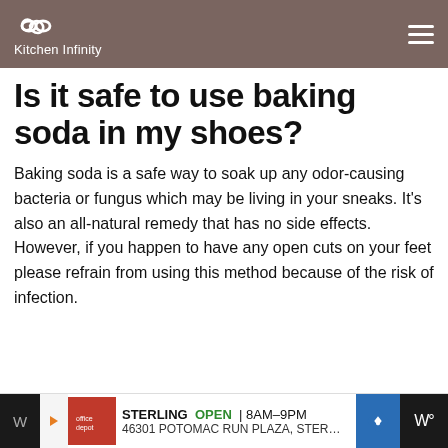Kitchen Infinity
Is it safe to use baking soda in my shoes?
Baking soda is a safe way to soak up any odor-causing bacteria or fungus which may be living in your sneaks. It's also an all-natural remedy that has no side effects. However, if you happen to have any open cuts on your feet please refrain from using this method because of the risk of infection.
[Figure (other): Advertisement banner: STERLING OPEN 8AM-9PM, 46301 POTOMAC RUN PLAZA, STER...]